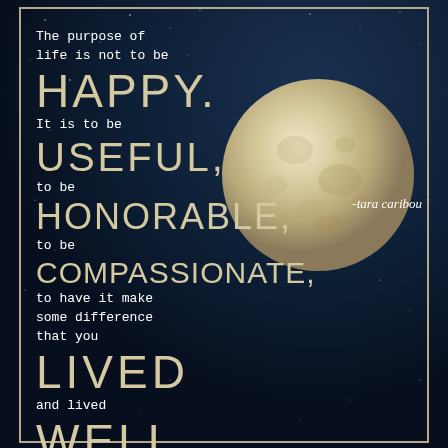[Figure (illustration): Motivational quote poster with a dark navy night sky background filled with stars, a large full moon in the upper-right area, and white and cream typography overlaid. Attribution reads '-tara caribou'.]
The purpose of life is not to be HAPPY. It is to be USEFUL, to be HONORABLE, to be COMPASSIONATE, to have it make some difference that you LIVED and lived WELL